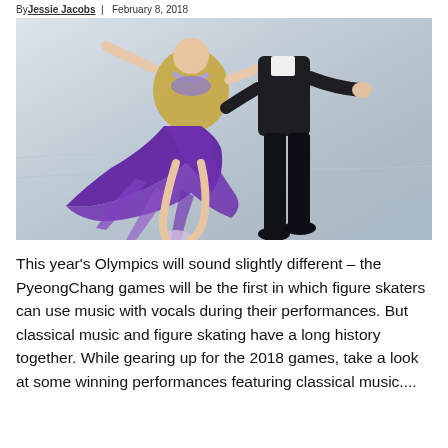By Jessie Jacobs | February 8, 2018
[Figure (photo): Two figure skaters on ice. A woman in a purple rhinestone dress and a man in black performing an ice dance routine.]
This year's Olympics will sound slightly different – the PyeongChang games will be the first in which figure skaters can use music with vocals during their performances. But classical music and figure skating have a long history together. While gearing up for the 2018 games, take a look at some winning performances featuring classical music....